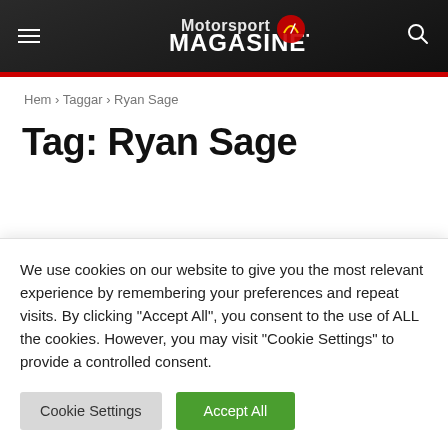Motorsport Magasinet
Hem › Taggar › Ryan Sage
Tag: Ryan Sage
SOCIALA MEDIER
We use cookies on our website to give you the most relevant experience by remembering your preferences and repeat visits. By clicking "Accept All", you consent to the use of ALL the cookies. However, you may visit "Cookie Settings" to provide a controlled consent.
Cookie Settings | Accept All